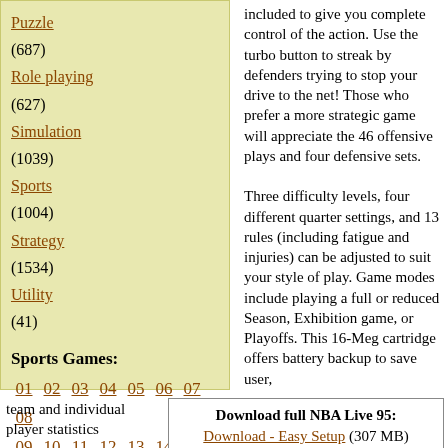Puzzle (687)
Role playing (627)
Simulation (1039)
Sports (1004)
Strategy (1534)
Utility (41)
Sports Games:
01 02 03 04 05 06 07 08
09 10 11 12 13 14 15 16
17 18 19 20 21 22 23 24
25 26 27 28 29 30 31 32
33 34
included to give you complete control of the action. Use the turbo button to streak by defenders trying to stop your drive to the net! Those who prefer a more strategic game will appreciate the 46 offensive plays and four defensive sets.
Three difficulty levels, four different quarter settings, and 13 rules (including fatigue and injuries) can be adjusted to suit your style of play. Game modes include playing a full or reduced Season, Exhibition game, or Playoffs. This 16-Meg cartridge offers battery backup to save user,
team and individual player statistics
Download full NBA Live 95: Download - Easy Setup (307 MB)